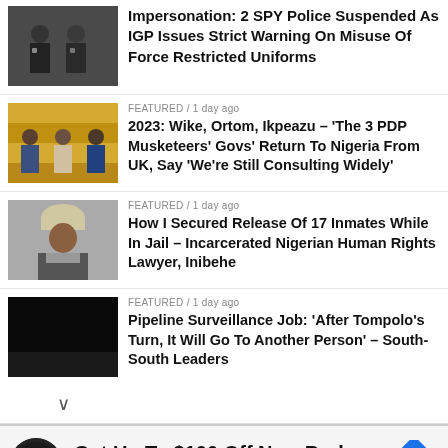[Figure (photo): Two police officers in dark uniforms]
Impersonation: 2 SPY Police Suspended As IGP Issues Strict Warning On Misuse Of Force Restricted Uniforms
[Figure (photo): Three men at a press conference, colorful background]
FEATURED / 1 day ago
2023: Wike, Ortom, Ikpeazu – 'The 3 PDP Musketeers' Govs' Return To Nigeria From UK, Say 'We're Still Consulting Widely'
[Figure (photo): Man with gray wig, looking sideways]
FEATURED / 1 day ago
How I Secured Release Of 17 Inmates While In Jail – Incarcerated Nigerian Human Rights Lawyer, Inibehe
[Figure (photo): Black/dark image]
FEATURED / 1 day ago
Pipeline Surveillance Job: 'After Tompolo's Turn, It Will Go To Another Person' – South-South Leaders
[Figure (infographic): Advertisement: Get Up To $100 Off New Brakes – Virginia Tire & Auto of Ashburn Farms]